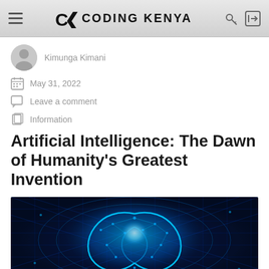CK CODING KENYA
Kimunga Kimani
May 31, 2022
Leave a comment
Information
Artificial Intelligence: The Dawn of Humanity's Greatest Invention
[Figure (illustration): Digital illustration of a glowing blue human brain with circuit board patterns and neural network connections against a dark blue technological background]